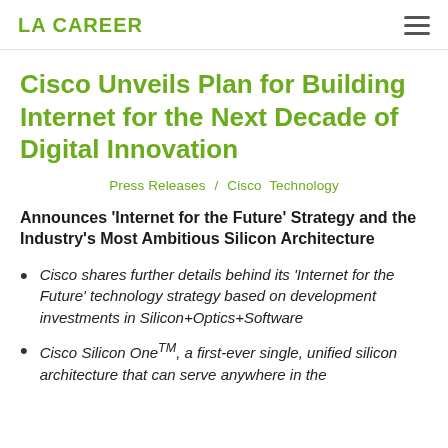LA CAREER
Cisco Unveils Plan for Building Internet for the Next Decade of Digital Innovation
Press Releases / Cisco Technology
Announces 'Internet for the Future' Strategy and the Industry's Most Ambitious Silicon Architecture
Cisco shares further details behind its 'Internet for the Future' technology strategy based on development investments in Silicon+Optics+Software
Cisco Silicon OneTM, a first-ever single, unified silicon architecture that can serve anywhere in the